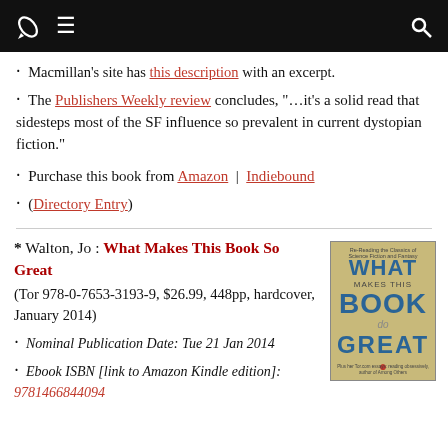🚀 ≡ 🔍
· Macmillan's site has this description with an excerpt.
· The Publishers Weekly review concludes, "...it's a solid read that sidesteps most of the SF influence so prevalent in current dystopian fiction."
· Purchase this book from Amazon | Indiebound
· (Directory Entry)
* Walton, Jo : What Makes This Book So Great (Tor 978-0-7653-3193-9, $26.99, 448pp, hardcover, January 2014)
· Nominal Publication Date: Tue 21 Jan 2014
· Ebook ISBN [link to Amazon Kindle edition]: 9781466844094
[Figure (photo): Book cover of 'What Makes This Book So Great' by Jo Walton, published by Tor. Teal/blue text on tan background.]